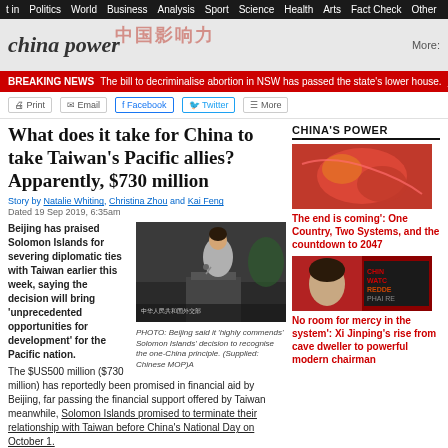t in   Politics   World   Business   Analysis   Sport   Science   Health   Arts   Fact Check   Other
[Figure (screenshot): China Power section header with Chinese characters 中国影响力 watermark and italic 'china power' logo title, More link on right]
BREAKING NEWS   The bill to decriminalise abortion in NSW has passed the state's lower house.   Read more...
Print   Email   Facebook   Twitter   More
What does it take for China to take Taiwan's Pacific allies? Apparently, $730 million
Story by Natalie Whiting, Christina Zhou and Kai Feng
Dated 19 Sep 2019, 6:35am
Beijing has praised Solomon Islands for severing diplomatic ties with Taiwan earlier this week, saying the decision will bring 'unprecedented opportunities for development' for the Pacific nation.
[Figure (photo): Photo of a woman in grey jacket speaking at a podium, dark conference room background]
PHOTO: Beijing said it 'highly commends' Solomon Islands' decision to recognise the one-China principle. (Supplied: Chinese MOP)A
The $US500 million ($730 million) has reportedly been promised in financial aid by Beijing, far passing the financial support offered by Taiwan meanwhile, Solomon Islands promised to terminate their relationship with Taiwan before China's National Day on October 1.
China highly commends the decision of the Solomon Islands government to recognise the...
CHINA'S POWER
[Figure (photo): Red and orange map illustration for China's Power sidebar]
The end is coming': One Country, Two Systems, and the countdown to 2047
[Figure (photo): China Watch: Redden - book cover style sidebar image]
No room for mercy in the system': Xi Jinping's rise from cave dweller to powerful modern chairman
Home   About   Contact                                          f   t   @   G+
[Figure (screenshot): NewsPro WordPress theme demo website screenshot showing logo, navigation, breaking news bar, and partial article image strip at bottom]
Latest News - The decline of the conservative white Democrat
NewsPro.
Magazine Pro – WordPress the... GET IT NOW
Home   Mega Menu   Culture   Politics   Science
BREAKING NEWS   Ivanka Trump briefly sits in for her father at G20
Trending: #All #Health #Polit...